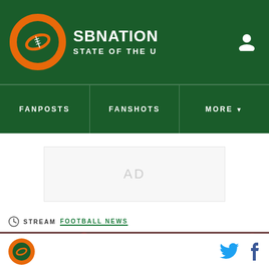SBNATION STATE OF THE U
FANPOSTS | FANSHOTS | MORE
AD
STREAM FOOTBALL NEWS
[Figure (photo): Miami Hurricanes football player wearing white uniform with number 13 celebrating on the field, surrounded by fans and opposing players in maroon uniforms.]
State of the U logo, Twitter icon, Facebook icon